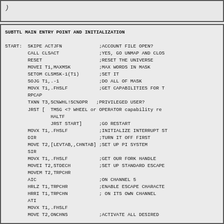[Figure (screenshot): Top partial code box showing truncated italic text]
SUBTTL MAIN ENTRY POINT AND INITIALIZATION

START:  SKIPE ACTJFN             ;ACCOUNT FILE OPEN?
        CALL CLSACT              ;YES, GO UNMAP AND CLOS
        RESET                    ;RESET THE UNIVERSE
        MOVEI T1,MAXMSK          ;MAX WORDS IN MASK
        SETOM CLSMSK-1(T1)       ;SET IT
        SOJG T1,.-1              ;DO ALL OF MASK
        MOVX T1,.FHSLF           ;GET CAPABILITIES FOR T
        RPCAP
        TXNN T3,SC%WHL!SC%OPR   ;PRIVILEGED USER?
        JRST [  TMSG <? WHEEL or OPERATOR capability re
                HALTF
                JRST START]      ;GO RESTART
        MOVX T1,.FHSLF           ;INITIALIZE INTERRUPT ST
        DIR                      ;TURN IT OFF FIRST
        MOVE T2,[LEVTAB,,CHNTAB] ;SET UP PI SYSTEM
        SIR
        MOVX T1,.FHSLF           ;GET OUR FORK HANDLE
        MOVEI T2,STDECH          ;SET UP STANDARD ESCAPE
        MOVEM T2,TRPCHR
        AIC                      ;ON CHANNEL 5
        HRLZ T1,TRPCHR           ;ENABLE ESCAPE CHARACTE
        HRRI T1,TRPCHN           ; ON ITS OWN CHANNEL
        ATI
        MOVX T1,.FHSLF
        MOVE T2,ONCHNS           ;ACTIVATE ALL DESIRED